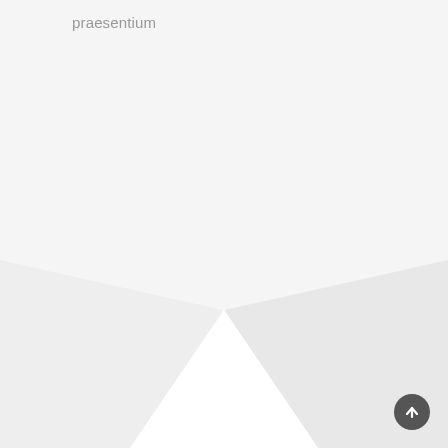praesentium
[Figure (illustration): Folded page or shadow effect showing a chevron/valley fold shape, light gray on white background, suggesting a page curl or 3D paper fold in the lower portion of the image]
[Figure (other): Circular dark gray scroll-to-top button with a white upward arrow icon, positioned in the bottom-right corner]